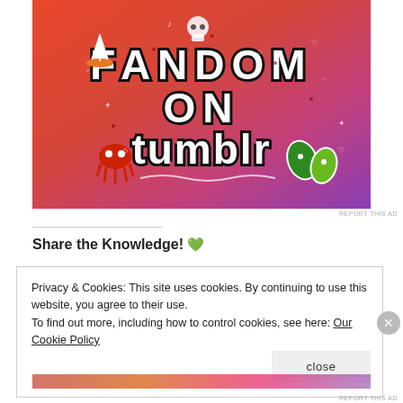[Figure (illustration): Tumblr advertisement banner with orange-to-purple gradient background, showing 'FANDOM ON tumblr' text in bold white/black letters, decorated with doodle stickers including a sailboat, octopus, skull, leaves, dice, and various small illustrations]
REPORT THIS AD
Share the Knowledge! 💚
Privacy & Cookies: This site uses cookies. By continuing to use this website, you agree to their use.
To find out more, including how to control cookies, see here: Our Cookie Policy
close